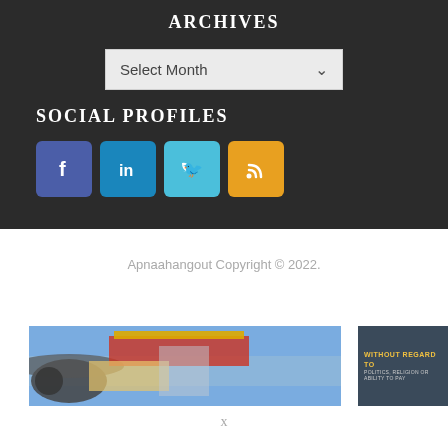ARCHIVES
Select Month
SOCIAL PROFILES
[Figure (infographic): Social media icons: Facebook (blue), LinkedIn (blue), Twitter (cyan), RSS (orange)]
Apnaahangout Copyright © 2022.
[Figure (photo): Banner image showing cargo plane being loaded with freight, with dark overlay text reading WITHOUT REGARD TO / POLITICS, RELIGION OR ABILITY TO PAY]
X